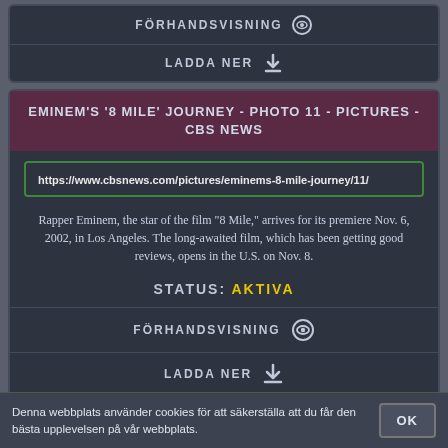FÖRHANDSVISNING
LADDA NER
EMINEM'S '8 MILE' JOURNEY - PHOTO 11 - PICTURES - CBS NEWS
https://www.cbsnews.com/pictures/eminems-8-mile-journey/11/
Rapper Eminem, the star of the film "8 Mile," arrives for its premiere Nov. 6, 2002, in Los Angeles. The long-awaited film, which has been getting good reviews, opens in the U.S. on Nov. 8.
STATUS: AKTIVA
FÖRHANDSVISNING
LADDA NER
Denna webbplats använder cookies för att säkerställa att du får den bästa upplevelsen på vår webbplats.